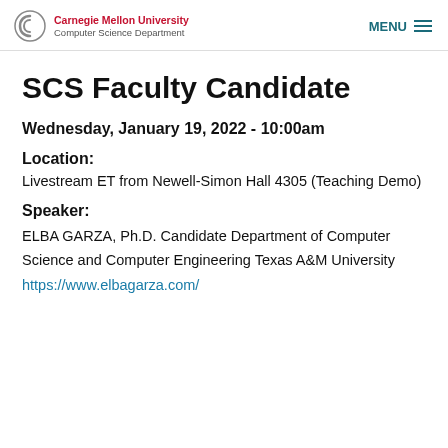Carnegie Mellon University Computer Science Department | MENU
SCS Faculty Candidate
Wednesday, January 19, 2022 - 10:00am
Location:
Livestream ET from Newell-Simon Hall 4305 (Teaching Demo)
Speaker:
ELBA GARZA, Ph.D. Candidate Department of Computer Science and Computer Engineering Texas A&amp;M University https://www.elbagarza.com/